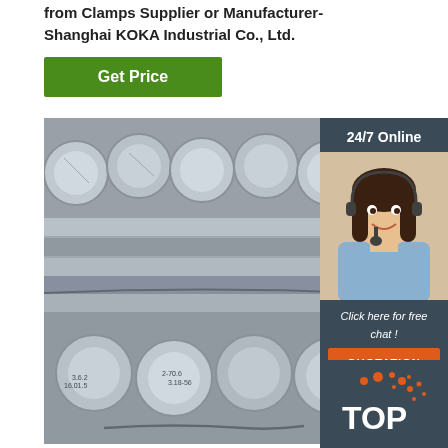from Clamps Supplier or Manufacturer-Shanghai KOKA Industrial Co., Ltd.
Get Price
[Figure (photo): Stack of steel/aluminum round bars bundled with wire, photographed from the ends showing circular cross-sections]
24/7 Online
[Figure (photo): Customer service agent woman with headset smiling]
Click here for free chat !
QUOTATION
TOP